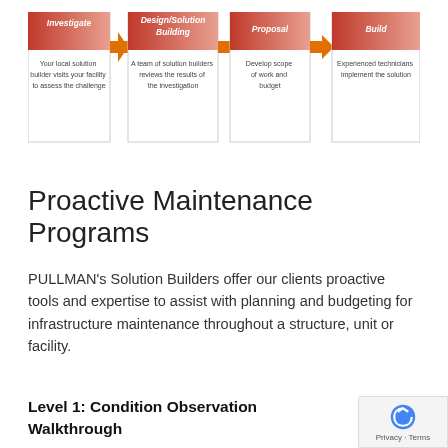[Figure (flowchart): Four-step process flowchart with red/salmon gradient boxes connected by orange arrows. Steps: Investigate (Your local solution builder visits your facility to assess the challenge), Design/Solution Building (A team of solution builders reviews the results of the investigation), Proposal (Develop scope of work and budget), Build (Experienced technicians implement the solution).]
Proactive Maintenance Programs
PULLMAN's Solution Builders offer our clients proactive tools and expertise to assist with planning and budgeting for infrastructure maintenance throughout a structure, unit or facility.
Level 1: Condition Observation Walkthrough